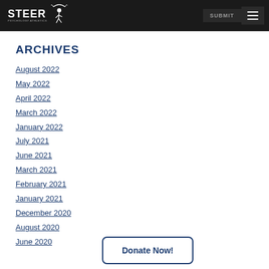STEER | SUBMIT
ARCHIVES
August 2022
May 2022
April 2022
March 2022
January 2022
July 2021
June 2021
March 2021
February 2021
January 2021
December 2020
August 2020
June 2020
Donate Now!